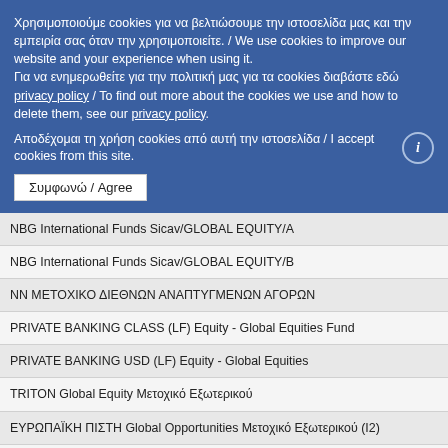Χρησιμοποιούμε cookies για να βελτιώσουμε την ιστοσελίδα μας και την εμπειρία σας όταν την χρησιμοποιείτε. / We use cookies to improve our website and your experience when using it.
Για να ενημερωθείτε για την πολιτική μας για τα cookies διαβάστε εδώ privacy policy / To find out more about the cookies we use and how to delete them, see our privacy policy.
Αποδέχομαι τη χρήση cookies από αυτή την ιστοσελίδα / I accept cookies from this site.
NBG International Funds Sicav/GLOBAL EQUITY/A
NBG International Funds Sicav/GLOBAL EQUITY/B
NN ΜΕΤΟΧΙΚΟ ΔΙΕΘΝΩΝ ΑΝΑΠΤΥΓΜΕΝΩΝ ΑΓΟΡΩΝ
PRIVATE BANKING CLASS (LF) Equity - Global Equities Fund
PRIVATE BANKING USD (LF) Equity - Global Equities
TRITON Global Equity Μετοχικό Εξωτερικού
ΕΥΡΩΠΑΪΚΗ ΠΙΣΤΗ Global Opportunities Μετοχικό Εξωτερικού (Ι2)
ΕΥΡΩΠΑΪΚΗ ΠΙΣΤΗ Global Opportunities Μετοχικό Εξωτερικού (R)
Μετοχικά ΑΚ Αναπτυσσομένων Αγορών
ALLIANZ Μετοχών Αναπτυσσόμενων Αγορών EMEA
ΝΝ ΜΕΤΟΧΙΚΗΣ ΑΝΑΠΤΥΣΣΟΜΕΝΩΝ ΑΓΟΡΩΝ